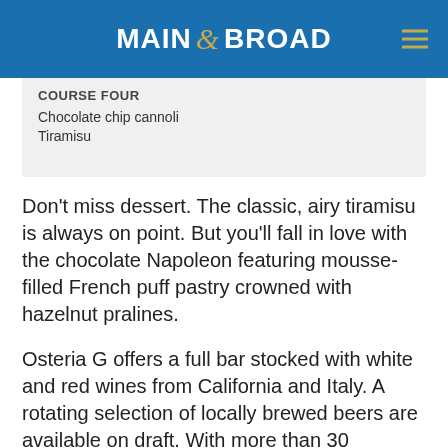MAIN & BROAD
COURSE FOUR
Chocolate chip cannoli
Tiramisu
Don't miss dessert. The classic, airy tiramisu is always on point. But you'll fall in love with the chocolate Napoleon featuring mousse-filled French puff pastry crowned with hazelnut pralines.
Osteria G offers a full bar stocked with white and red wines from California and Italy. A rotating selection of locally brewed beers are available on draft. With more than 30 varieties of whiskey on hand, notable craft cocktails include